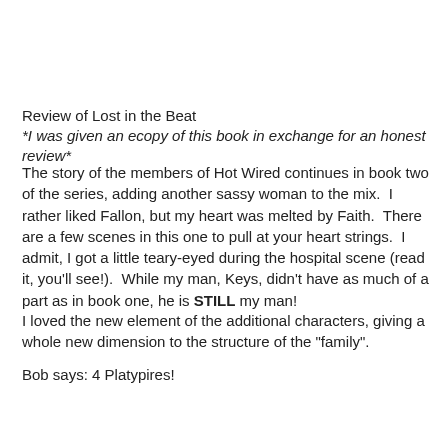[Figure (illustration): Decorative top banner with repeating western/cowboy themed motifs: brown hat shapes with star icons in light purple oval frames, arranged in a row across the full width.]
Review of Lost in the Beat
*I was given an ecopy of this book in exchange for an honest review*
The story of the members of Hot Wired continues in book two of the series, adding another sassy woman to the mix.  I rather liked Fallon, but my heart was melted by Faith.  There are a few scenes in this one to pull at your heart strings.  I admit, I got a little teary-eyed during the hospital scene (read it, you'll see!).  While my man, Keys, didn't have as much of a part as in book one, he is STILL my man!
I loved the new element of the additional characters, giving a whole new dimension to the structure of the "family".
Bob says: 4 Platypires!
[Figure (illustration): Decorative bottom banner with repeating western/cowboy themed motifs: brown horseshoe shapes containing hat figures, partially visible at the bottom of the page.]